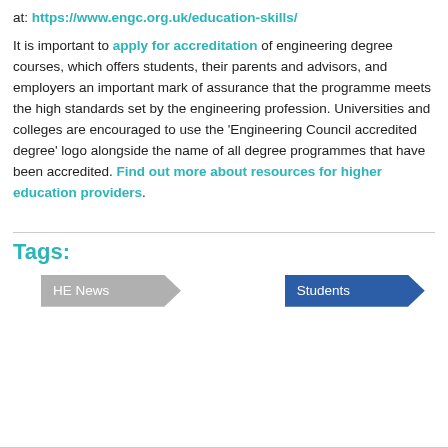at: https://www.engc.org.uk/education-skills/
It is important to apply for accreditation of engineering degree courses, which offers students, their parents and advisors, and employers an important mark of assurance that the programme meets the high standards set by the engineering profession. Universities and colleges are encouraged to use the ‘Engineering Council accredited degree’ logo alongside the name of all degree programmes that have been accredited. Find out more about resources for higher education providers.
Tags:
HE News
Students